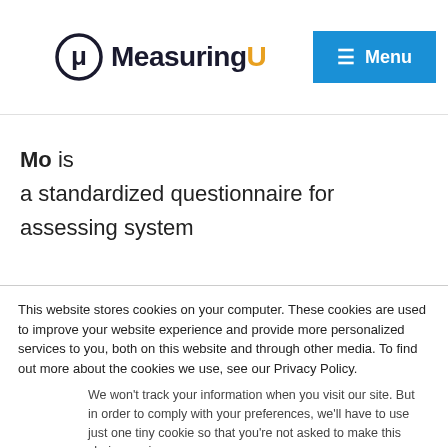with
[Figure (logo): MeasuringU logo with mu symbol and orange U, with blue Menu button]
Mo is a standardized questionnaire for assessing system trust. It's a 12-item instrument that measures two factors: system reliability/dependability and perceived risk.
This website stores cookies on your computer. These cookies are used to improve your website experience and provide more personalized services to you, both on this website and through other media. To find out more about the cookies we use, see our Privacy Policy.
We won't track your information when you visit our site. But in order to comply with your preferences, we'll have to use just one tiny cookie so that you're not asked to make this choice again.